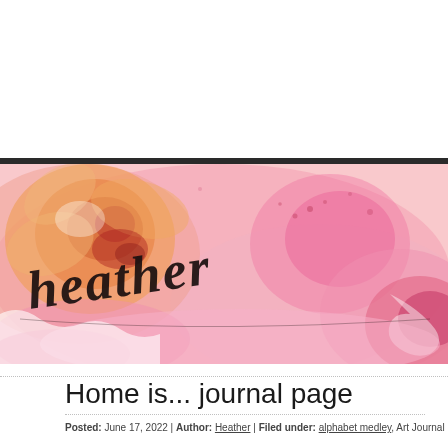[Figure (illustration): Watercolor painting of pink and orange roses with the cursive text 'heather' overlaid in black calligraphy script. The image has a white/light background at the top and transitions into the floral watercolor painting below a dark horizontal bar.]
Home is... journal page
Posted: June 17, 2022 | Author: Heather | Filed under: alphabet medley, Art Journal